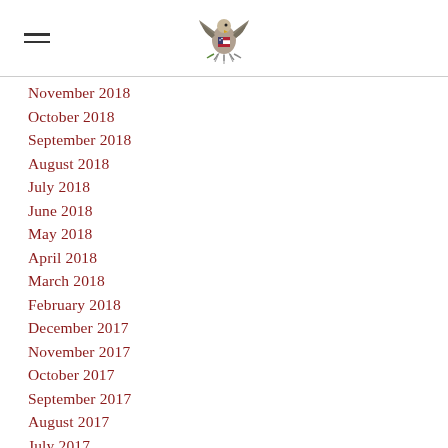[Figure (logo): US Government eagle seal/emblem centered in header with hamburger menu icon on the left]
November 2018
October 2018
September 2018
August 2018
July 2018
June 2018
May 2018
April 2018
March 2018
February 2018
December 2017
November 2017
October 2017
September 2017
August 2017
July 2017
June 2017